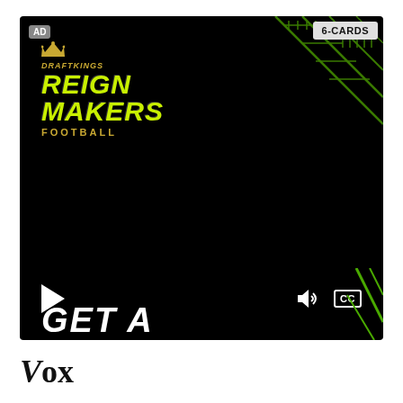[Figure (screenshot): DraftKings Reign Makers Football video advertisement. Black background with green field lines in top-right corner. Shows AD badge top-left, 6-CARDS badge top-right, DraftKings crown logo with REIGN MAKERS FOOTBALL text in yellow-green and gold. Video player controls (play button, volume, CC) at bottom. Partial text 'GET A' visible at bottom. Green accent lines bottom-right.]
[Figure (logo): Vox media logo in black serif/italic bold font at bottom of page.]